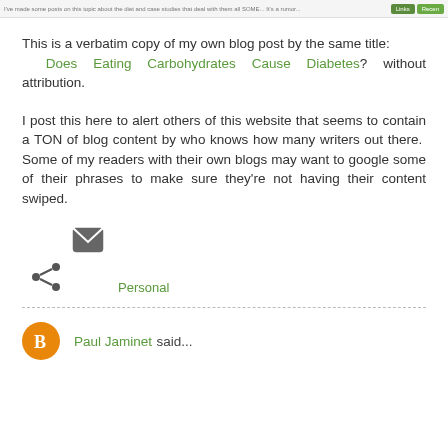I've made some posts on this topic about the diet and case studies that deal with them all SOME... It's a rumor... Links | Recent
This is a verbatim copy of my own blog post by the same title: Does Eating Carbohydrates Cause Diabetes? without attribution.
I post this here to alert others of this website that seems to contain a TON of blog content by who knows how many writers out there. Some of my readers with their own blogs may want to google some of their phrases to make sure they're not having their content swiped.
[Figure (infographic): Share icon (less-than style share symbol) and email envelope icon, with 'Personal' label in green below]
Paul Jaminet said...